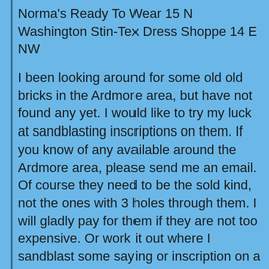Norma's Ready To Wear 15 N Washington
Stin-Tex Dress Shoppe 14 E NW
I been looking around for some old old bricks in the Ardmore area, but have not found any yet. I would like to try my luck at sandblasting inscriptions on them. If you know of any available around the Ardmore area, please send me an email. Of course they need to be the sold kind, not the ones with 3 holes through them. I will gladly pay for them if they are not too expensive. Or work it out where I sandblast some saying or inscription on a brick for the extras. butchbridges@OklahomaHistory.net
Last week all my 1,500 emails went out ok except those T&T subscribers with eastcom.net